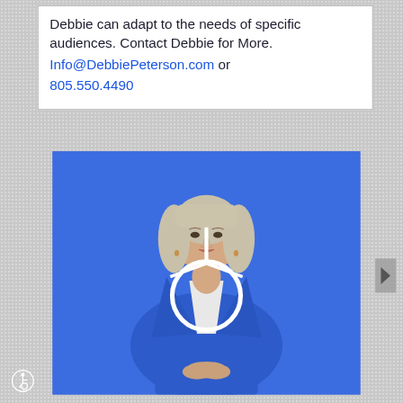Debbie can adapt to the needs of specific audiences. Contact Debbie for More. Info@DebbiePeterson.com or 805.550.4490
[Figure (photo): Woman with blonde hair wearing a blue blazer and white shirt, standing against a solid blue background with a white circular microphone/headset in front of her, clasping her hands together.]